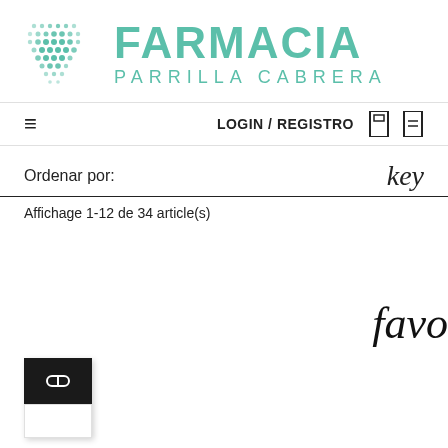[Figure (logo): Farmacia Parrilla Cabrera logo with teal dot-grid pattern and teal text 'FARMACIA PARRILLA CABRERA']
LOGIN / REGISTRO
Ordenar por:
key
Affichage 1-12 de 34 article(s)
favo
[Figure (other): Product icon box with dark top section containing a pill/capsule icon and white bottom section]